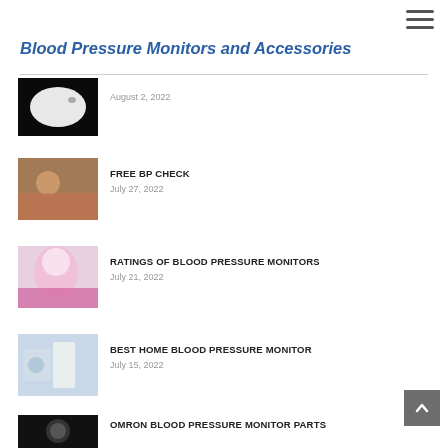≡
Blood Pressure Monitors and Accessories
August 2, 2022
FREE BP CHECK
July 27, 2022
RATINGS OF BLOOD PRESSURE MONITORS
July 21, 2022
BEST HOME BLOOD PRESSURE MONITOR
July 15, 2022
OMRON BLOOD PRESSURE MONITOR PARTS
July 8, 2022